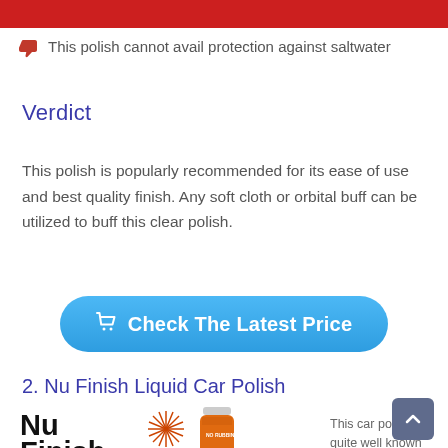[Figure (other): Red header bar at top of page]
This polish cannot avail protection against saltwater
Verdict
This polish is popularly recommended for its ease of use and best quality finish. Any soft cloth or orbital buff can be utilized to buff this clear polish.
[Figure (other): Blue rounded rectangle button with shopping cart icon and text: Check The Latest Price]
2. Nu Finish Liquid Car Polish
[Figure (photo): Nu Finish product logo with starburst and orange bottle image]
This car polish is quite well known for its